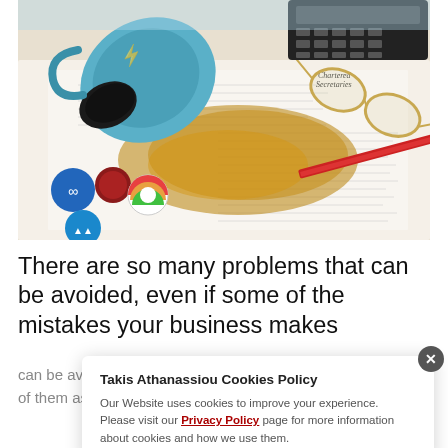[Figure (photo): A coffee mug tipped over on financial documents and papers, spilling coffee. A calculator, glasses, a red ruler/pencil, and circular sticker icons are visible on the cluttered desk.]
There are so many problems that can be avoided, even if some of the mistakes your business makes
can be avoided. Here's how to eliminate and prevent as many of them as possible as you manage your bu...
Takis Athanassiou Cookies Policy
Our Website uses cookies to improve your experience. Please visit our Privacy Policy page for more information about cookies and how we use them.